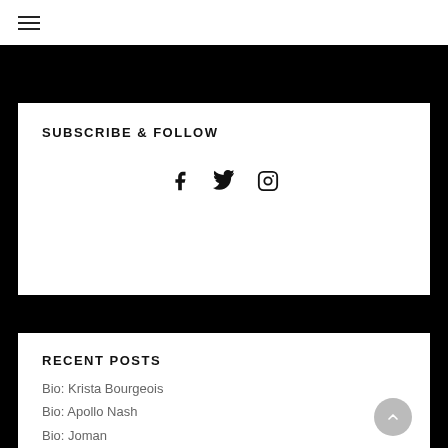≡
SUBSCRIBE & FOLLOW
[Figure (infographic): Social media icons: Facebook (f), Twitter (bird), Instagram (camera)]
RECENT POSTS
Bio: Krista Bourgeois
Bio: Apollo Nash
Bio: Joman
Bio: Max Gardner
Bio: Option4